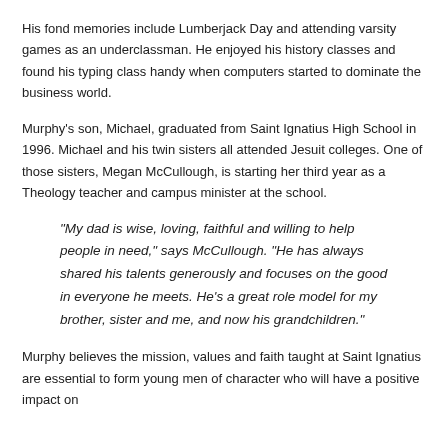His fond memories include Lumberjack Day and attending varsity games as an underclassman. He enjoyed his history classes and found his typing class handy when computers started to dominate the business world.
Murphy's son, Michael, graduated from Saint Ignatius High School in 1996. Michael and his twin sisters all attended Jesuit colleges. One of those sisters, Megan McCullough, is starting her third year as a Theology teacher and campus minister at the school.
“My dad is wise, loving, faithful and willing to help people in need,” says McCullough. “He has always shared his talents generously and focuses on the good in everyone he meets. He’s a great role model for my brother, sister and me, and now his grandchildren.”
Murphy believes the mission, values and faith taught at Saint Ignatius are essential to form young men of character who will have a positive impact on